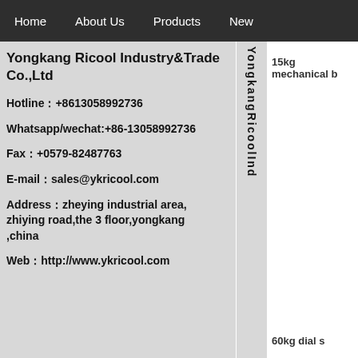Home   About Us   Products   New
Yongkang Ricool Industry&Trade Co.,Ltd
Hotline：+8613058992736
Whatsapp/wechat:+86-13058992736
Fax：+0579-82487763
E-mail：sales@ykricool.com
Address：zheying industrial area, zhiying road,the 3 floor,yongkang ,china
Web：http://www.ykricool.com
YongkangRicool nd
15kg mechanical b
60kg dial s